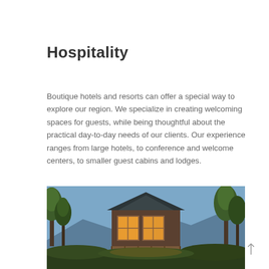Hospitality
Boutique hotels and resorts can offer a special way to explore our region. We specialize in creating welcoming spaces for guests, while being thoughtful about the practical day-to-day needs of our clients. Our experience ranges from large hotels, to conference and welcome centers, to smaller guest cabins and lodges.
[Figure (photo): Exterior of a rustic lodge or cabin with large windows emitting warm light, surrounded by tall trees against a blue evening sky.]